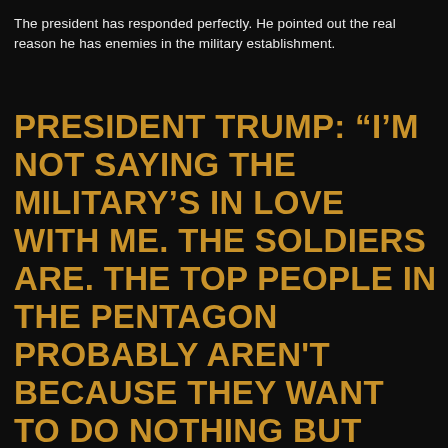The president has responded perfectly. He pointed out the real reason he has enemies in the military establishment.
PRESIDENT TRUMP: “I’M NOT SAYING THE MILITARY’S IN LOVE WITH ME. THE SOLDIERS ARE. THE TOP PEOPLE IN THE PENTAGON PROBABLY AREN'T BECAUSE THEY WANT TO DO NOTHING BUT FIGHT WARS SO ALL OF THOSE COMPANIES THAT MAKE THE BOMBS AND MAKE THE PLANES AND MAKE EVERYTHING ELSE STAY HAPPY.” PIC.TWITTER.COM/XHXKV9LMKU